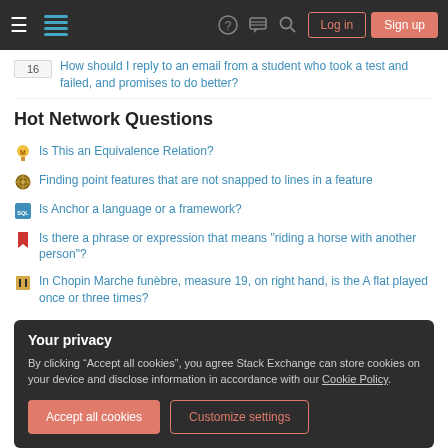Stack Exchange navigation bar with hamburger menu, logo, help, chat, search icons, Log in and Sign up buttons
16 — How should I reply to an email from a student who took a test and failed, and promises to do better?
Hot Network Questions
Is This an Equivalence Relation?
Finding point features that are not snapped to lines in a feature
Is Anchor a language or a framework?
Is there a phrase or expression that means "riding a horse with another person"?
In Chopin Marche funèbre, measure 19, on right hand, is the A flat played once or three times?
Your privacy
By clicking "Accept all cookies", you agree Stack Exchange can store cookies on your device and disclose information in accordance with our Cookie Policy.
Find the nth Mersenne Prime